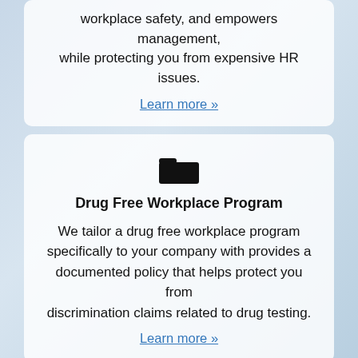workplace safety, and empowers management, while protecting you from expensive HR issues.
Learn more »
[Figure (illustration): Folder icon representing Drug Free Workplace Program]
Drug Free Workplace Program
We tailor a drug free workplace program specifically to your company with provides a documented policy that helps protect you from discrimination claims related to drug testing.
Learn more »